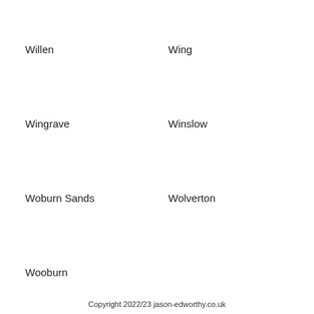Willen
Wing
Wingrave
Winslow
Woburn Sands
Wolverton
Wooburn
Copyright 2022/23 jason-edworthy.co.uk